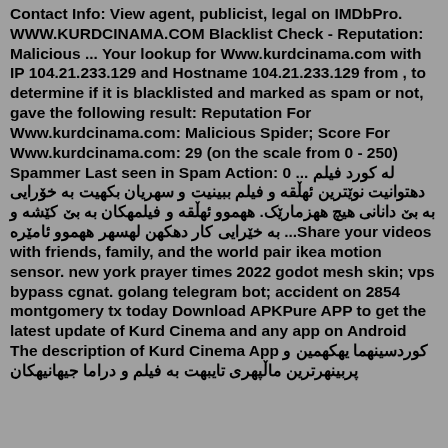Contact Info: View agent, publicist, legal on IMDbPro. WWW.KURDCINAMA.COM Blacklist Check - Reputation: Malicious ... Your lookup for Www.kurdcinama.com with IP 104.21.233.129 and Hostname 104.21.233.129 from , to determine if it is blacklisted and marked as spam or not, gave the following result: Reputation For Www.kurdcinama.com: Malicious Spider; Score For Www.kurdcinama.com: 29 (on the scale from 0 - 250) Spammer Last seen in Spam Action: 0 ... له کورد فیلم دهتوانیت نوێترین ئهڵقه و فیلم ببینیت و سهریان بکهیت به خۆرایی به بێ دانانی هیچ ههزمارێک. ههموو ئهڵقه و فیلمهکان به بێ کێشه و به خێرایی کار دهکهن لهسهر ههموو ئامێره ... Share your videos with friends, family, and the world pair ikea motion sensor. new york prayer times 2022 godot mesh skin; vps bypass cgnat. golang telegram bot; accident on 2854 montgomery tx today Download APKPure APP to get the latest update of Kurd Cinema and any app on Android The description of Kurd Cinema App کوردسینهما یهکهمین و پربینهرترین ماڵپهری تایبهت به فیلم و دراما جیهانیهکان